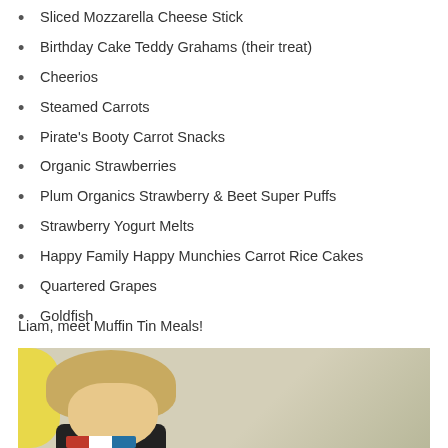Sliced Mozzarella Cheese Stick
Birthday Cake Teddy Grahams (their treat)
Cheerios
Steamed Carrots
Pirate's Booty Carrot Snacks
Organic Strawberries
Plum Organics Strawberry & Beet Super Puffs
Strawberry Yogurt Melts
Happy Family Happy Munchies Carrot Rice Cakes
Quartered Grapes
Goldfish
Liam, meet Muffin Tin Meals!
[Figure (photo): A young toddler with light blonde hair looking downward, wearing a dark shirt with a red, white, and blue ribbon/medal, photographed in front of a light wood grain background with a yellow element on the left side.]